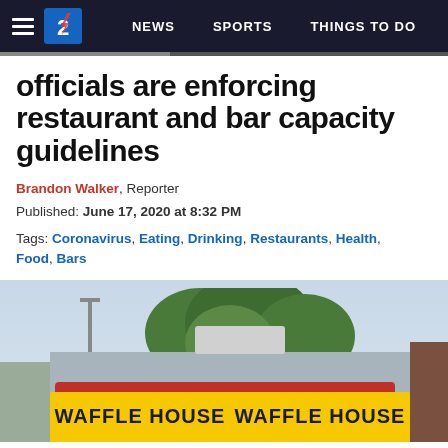NEWS | SPORTS | THINGS TO DO
officials are enforcing restaurant and bar capacity guidelines
Brandon Walker, Reporter
Published: June 17, 2020 at 8:32 PM
Tags: Coronavirus, Eating, Drinking, Restaurants, Health, Food, Bars
[Figure (photo): Exterior of a Waffle House restaurant showing the yellow sign with 'WAFFLE HOUSE' text repeated twice, red roof trim, and surrounding trees in the background.]